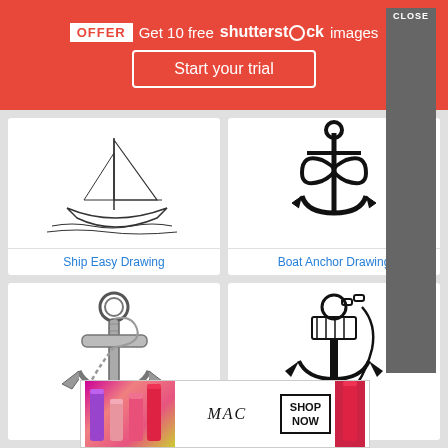[Figure (screenshot): Shutterstock promotional banner with red background offering 10 free images and a 'Start your trial' button]
[Figure (illustration): Line drawing of a sailboat on water]
Ship Easy Drawing
[Figure (illustration): Black silhouette of a boat anchor with infinity symbol]
Boat Anchor Drawing
[Figure (illustration): Detailed pencil drawing of a nautical rope anchor]
[Figure (illustration): USN lettering with anchor graphic silhouette]
[Figure (screenshot): MAC cosmetics advertisement banner with lipsticks and SHOP NOW button, with CLOSE button overlay]